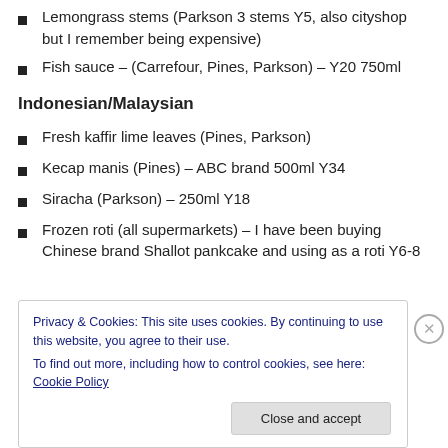Lemongrass stems (Parkson 3 stems Y5, also cityshop but I remember being expensive)
Fish sauce – (Carrefour, Pines, Parkson) – Y20 750ml
Indonesian/Malaysian
Fresh kaffir lime leaves (Pines, Parkson)
Kecap manis (Pines) – ABC brand 500ml Y34
Siracha (Parkson) – 250ml Y18
Frozen roti (all supermarkets) – I have been buying Chinese brand Shallot pankcake and using as a roti Y6-8
Privacy & Cookies: This site uses cookies. By continuing to use this website, you agree to their use.
To find out more, including how to control cookies, see here: Cookie Policy